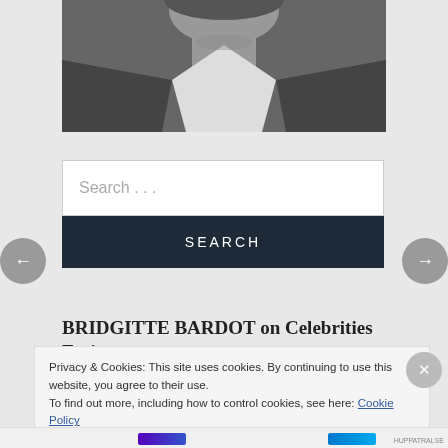[Figure (photo): Black and white photograph of a person (upper body/neck area visible), wearing a dark jacket and white open-collar shirt, cropped near the top of the page.]
Search . . .
SEARCH
BRIDGITTE BARDOT on Celebrities Eating
Privacy & Cookies: This site uses cookies. By continuing to use this website, you agree to their use.
To find out more, including how to control cookies, see here: Cookie Policy
Close and accept